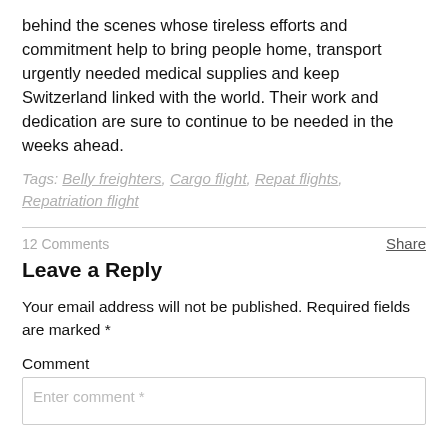behind the scenes whose tireless efforts and commitment help to bring people home, transport urgently needed medical supplies and keep Switzerland linked with the world. Their work and dedication are sure to continue to be needed in the weeks ahead.
Tags: Belly freighters, Cargo flight, Repat flights, Repatriation flight
12 Comments
Share
Leave a Reply
Your email address will not be published. Required fields are marked *
Comment
Enter comment *